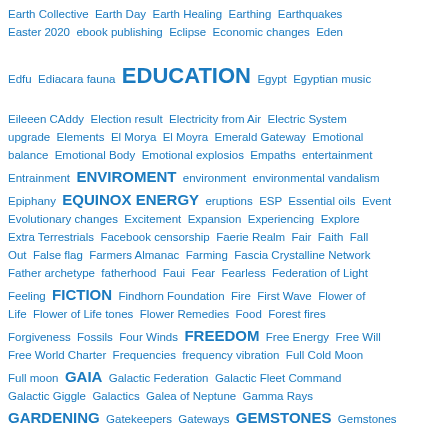Earth Collective  Earth Day  Earth Healing  Earthing  Earthquakes  Easter 2020  ebook publishing  Eclipse  Economic changes  Eden  Edfu  Ediacara fauna  EDUCATION  Egypt  Egyptian music  Eileeen CAddy  Election result  Electricity from Air  Electric System upgrade  Elements  El Morya  El Moyra  Emerald Gateway  Emotional balance  Emotional Body  Emotional explosios  Empaths  entertainment  Entrainment  ENVIROMENT  environment  environmental vandalism  Epiphany  EQUINOX ENERGY  eruptions  ESP  Essential oils  Event  Evolutionary changes  Excitement  Expansion  Experiencing  Explore  Extra Terrestrials  Facebook censorship  Faerie Realm  Fair  Faith  Fall Out  False flag  Farmers Almanac  Farming  Fascia Crystalline Network  Father archetype  fatherhood  Faui  Fear  Fearless  Federation of Light  Feeling  FICTION  Findhorn Foundation  Fire  First Wave  Flower of Life  Flower of Life tones  Flower Remedies  Food  Forest fires  Forgiveness  Fossils  Four Winds  FREEDOM  Free Energy  Free Will  Free World Charter  Frequencies  frequency vibration  Full Cold Moon  Full moon  GAIA  Galactic Federation  Galactic Fleet Command  Galactic Giggle  Galactics  Galea of Neptune  Gamma Rays  GARDENING  Gatekeepers  Gateways  GEMSTONES  Gemstones